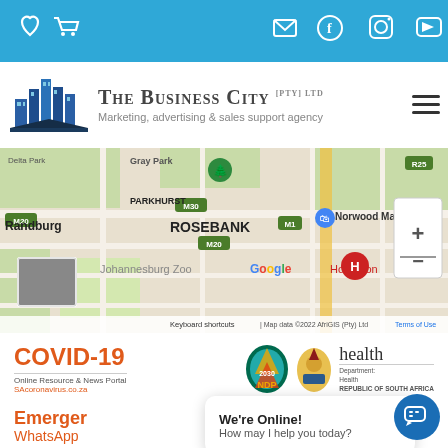[Figure (screenshot): Blue top navigation bar with heart icon, shopping cart icon on the left, and email, Facebook, Instagram, YouTube icons on the right]
[Figure (logo): The Business City (PTY) LTD logo with building icon and tagline: Marketing, advertising & sales support agency]
[Figure (map): Google Maps showing Rosebank, Johannesburg area including Parkhurst, Randburg, Norwood Mall, Johannesburg Zoo, and Houghton. Map data 2022 AfriGIS (Pty) Ltd]
[Figure (screenshot): COVID-19 Online Resource & News Portal SAcoronavirus.co.za banner with NDP 2030 and Department of Health Republic of South Africa logos]
Emerger
WhatsApp
[Figure (screenshot): Chat popup: We're Online! How may I help you today?]